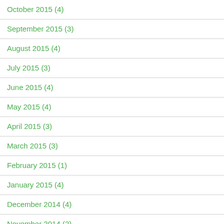October 2015 (4)
September 2015 (3)
August 2015 (4)
July 2015 (3)
June 2015 (4)
May 2015 (4)
April 2015 (3)
March 2015 (3)
February 2015 (1)
January 2015 (4)
December 2014 (4)
November 2014 (2)
October 2014 (4)